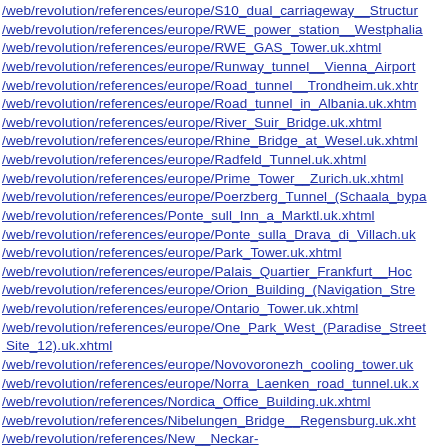/web/revolution/references/europe/S10_dual_carriageway__Structure
/web/revolution/references/europe/RWE_power_station__Westphalia
/web/revolution/references/europe/RWE_GAS_Tower.uk.xhtml
/web/revolution/references/europe/Runway_tunnel__Vienna_Airport
/web/revolution/references/europe/Road_tunnel__Trondheim.uk.xht
/web/revolution/references/europe/Road_tunnel_in_Albania.uk.xhtm
/web/revolution/references/europe/River_Suir_Bridge.uk.xhtml
/web/revolution/references/europe/Rhine_Bridge_at_Wesel.uk.xhtml
/web/revolution/references/europe/Radfeld_Tunnel.uk.xhtml
/web/revolution/references/europe/Prime_Tower__Zurich.uk.xhtml
/web/revolution/references/europe/Poerzberg_Tunnel_(Schaala_bypa
/web/revolution/references/Ponte_sull_Inn_a_Marktl.uk.xhtml
/web/revolution/references/europe/Ponte_sulla_Drava_di_Villach.uk
/web/revolution/references/europe/Park_Tower.uk.xhtml
/web/revolution/references/europe/Palais_Quartier_Frankfurt__Hoc
/web/revolution/references/europe/Orion_Building_(Navigation_Stre
/web/revolution/references/europe/Ontario_Tower.uk.xhtml
/web/revolution/references/europe/One_Park_West_(Paradise_Street_Site_12).uk.xhtml
/web/revolution/references/europe/Novovoronezh_cooling_tower.uk
/web/revolution/references/europe/Norra_Laenken_road_tunnel.uk.x
/web/revolution/references/Nordica_Office_Building.uk.xhtml
/web/revolution/references/Nibelungen_Bridge__Regensburg.uk.xht
/web/revolution/references/New_Neckar-Realschule_secondary_school__Stuttgart.uk.xhtml